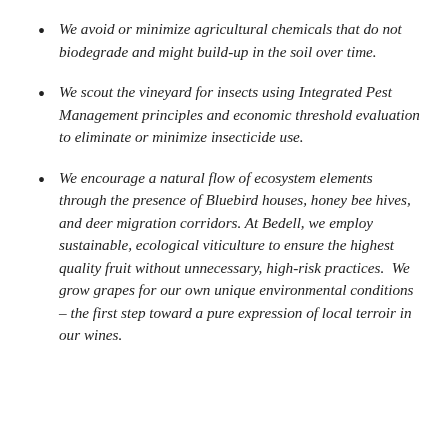We avoid or minimize agricultural chemicals that do not biodegrade and might build-up in the soil over time.
We scout the vineyard for insects using Integrated Pest Management principles and economic threshold evaluation to eliminate or minimize insecticide use.
We encourage a natural flow of ecosystem elements through the presence of Bluebird houses, honey bee hives, and deer migration corridors. At Bedell, we employ sustainable, ecological viticulture to ensure the highest quality fruit without unnecessary, high-risk practices.  We grow grapes for our own unique environmental conditions – the first step toward a pure expression of local terroir in our wines.